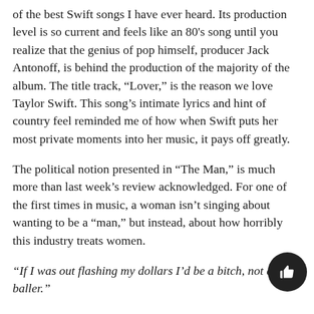of the best Swift songs I have ever heard. Its production level is so current and feels like an 80's song until you realize that the genius of pop himself, producer Jack Antonoff, is behind the production of the majority of the album. The title track, “Lover,” is the reason we love Taylor Swift. This song’s intimate lyrics and hint of country feel reminded me of how when Swift puts her most private moments into her music, it pays off greatly.
The political notion presented in “The Man,” is much more than last week’s review acknowledged. For one of the first times in music, a woman isn’t singing about wanting to be a “man,” but instead, about how horribly this industry treats women.
“If I was out flashing my dollars I’d be a bitch, not a baller.”
This album isn’t all perfect though, tracks like “Miss Americana & The Heartbreak Prince,” “The Archer,” “It’s Nice To Have A Friend,” and lead single “ME!” fall short. Some of their placements on the album feel wrong and seem as though they’d fit better as bonus tracks and as additions of the wall